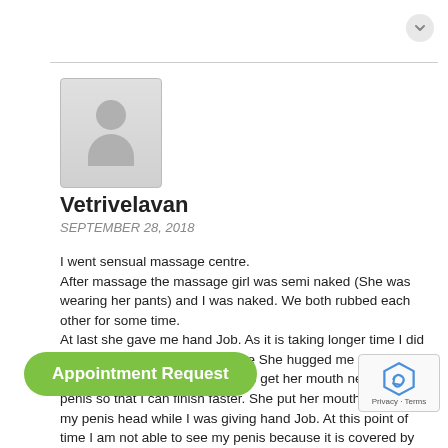[Figure (illustration): Generic user avatar placeholder with grey background showing silhouette of person (head and shoulders)]
Vetrivelavan
SEPTEMBER 28, 2018
I went sensual massage centre.
After massage the massage girl was semi naked (She was wearing her pants) and I was naked. We both rubbed each other for some time.
At last she gave me hand Job. As it is taking longer time I did hand Job myself during that time She hugged me tightly to make me cum faster. I told her to get her mouth near to my penis so that I can finish faster. She put her mouth very near to my penis head while I was giving hand Job. At this point of time I am not able to see my penis because it is covered by her head. At the end I completed my hand job.
As for as I have know she didnt licked her my penis or s
...he is What if she spitted on my P...
with some blood will it cause HIV?